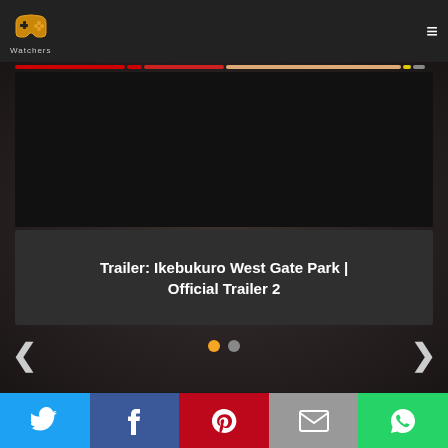[Figure (logo): PP Watchers logo with orange controller icon and text]
[Figure (screenshot): Video player slider showing Ikebukuro West Gate Park Official Trailer 2 with progress bar, dark video thumbnail, title card, navigation arrows and pagination dots]
Trailer: Ikebukuro West Gate Park | Official Trailer 2
[Figure (infographic): Social sharing buttons: Twitter, Facebook, Pinterest, Email, WhatsApp]